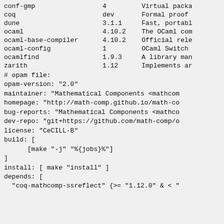| Package | Version | Description |
| --- | --- | --- |
| conf-gmp | 4 | Virtual packa |
| coq | dev | Formal proof |
| dune | 3.1.1 | Fast, portabl |
| ocaml | 4.10.2 | The OCaml com |
| ocaml-base-compiler | 4.10.2 | Official rele |
| ocaml-config | 1 | OCaml Switch |
| ocamlfind | 1.9.3 | A library man |
| zarith | 1.12 | Implements ar |
# opam file:
opam-version: "2.0"
maintainer: "Mathematical Components <mathcom
homepage: "http://math-comp.github.io/math-co
bug-reports: "Mathematical Components <mathco
dev-repo: "git+https://github.com/math-comp/o
license: "CeCILL-B"
build: [
      [make "-j" "%{jobs}%"]
]
install: [ make "install" ]
depends: [
  "coq-mathcomp-ssreflect" {>= "1.12.0" & <